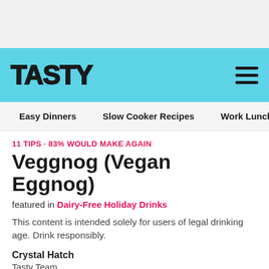TASTY
Easy Dinners  Slow Cooker Recipes  Work Lunches
11 TIPS · 83% WOULD MAKE AGAIN
Veggnog (Vegan Eggnog)
featured in Dairy-Free Holiday Drinks
This content is intended solely for users of legal drinking age. Drink responsibly.
Crystal Hatch
Tasty Team
[Figure (other): Social share buttons: Pinterest (red circle), Email (purple circle), Comment (green circle), and a pink Print button]